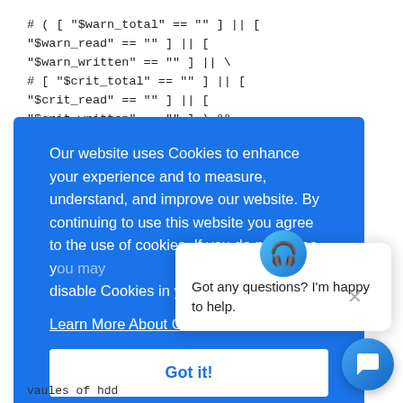# ( [ "$warn_total" == "" ] || [
"$warn_read" == "" ] || [
"$warn_written" == "" ] || \
# [ "$crit_total" == "" ] || [
"$crit_read" == "" ] || [
"$crit_written" == "" ] ) &&
# echo "ERROR: You must specify all warning and
[Figure (screenshot): Blue cookie consent overlay with text 'Our website uses Cookies to enhance your experience and to measure, understand, and improve our website. By continuing to use this website you agree to the use of cookies. If you do not agree, you may disable Cookies in your browser.' with Learn More About Cookies link and Got it! button]
[Figure (screenshot): Chat popup with avatar icon showing 'Got any questions? I'm happy to help.' with close button]
vaules of hdd